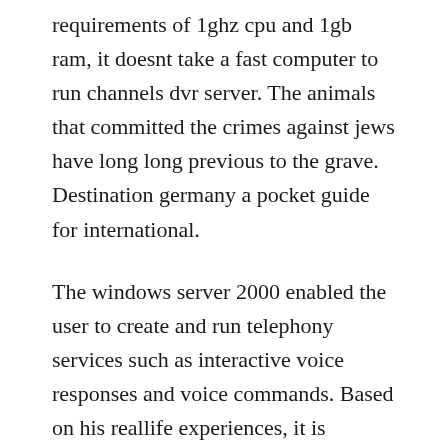requirements of 1ghz cpu and 1gb ram, it doesnt take a fast computer to run channels dvr server. The animals that committed the crimes against jews have long long previous to the grave. Destination germany a pocket guide for international.
The windows server 2000 enabled the user to create and run telephony services such as interactive voice responses and voice commands. Based on his reallife experiences, it is eyeopening and enlightening about how restaurants are run, and the life of a